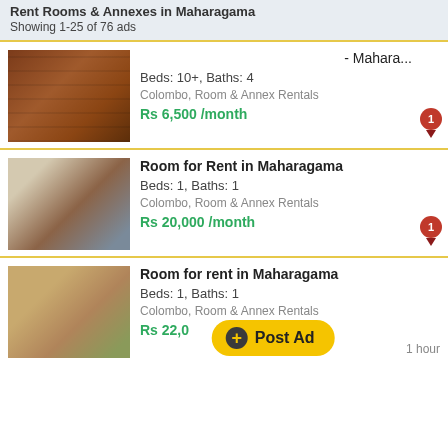Rent Rooms & Annexes in Maharagama
Showing 1-25 of 76 ads
- Mahara...
Beds: 10+, Baths: 4
Colombo, Room & Annex Rentals
Rs 6,500 /month
Room for Rent in Maharagama
Beds: 1, Baths: 1
Colombo, Room & Annex Rentals
Rs 20,000 /month
Room for rent in Maharagama
Beds: 1, Baths: 1
Colombo, Room & Annex Rentals
Rs 22,0...
1 hour